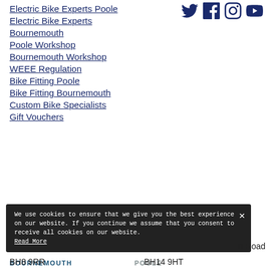Electric Bike Experts Poole
[Figure (other): Social media icons: Twitter, Facebook, Instagram, YouTube]
Electric Bike Experts
Bournemouth
Poole Workshop
Bournemouth Workshop
WEEE Regulation
Bike Fitting Poole
Bike Fitting Bournemouth
Custom Bike Specialists
Gift Vouchers
BOURNEMOUTH
POOLE
We use cookies to ensure that we give you the best experience on our website. If you continue we assume that you consent to receive all cookies on our website. Read More
n Road
BH8 9RR
BH14 9HT